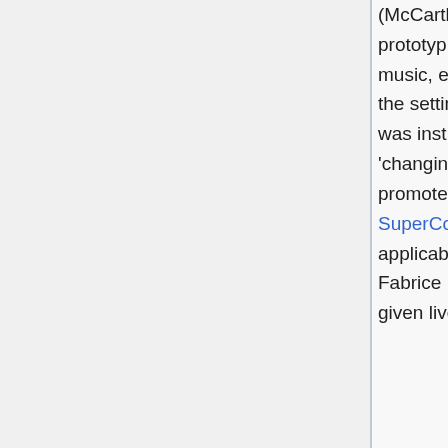(McCarthy 2002) audio programming language, dedicated to live coding prototyping and performance. Julian's own work often uses it in network music, exploratory film soundtracks and improvisation where he can react to the setting and audience and describe events through audio code. Julian was instrumental in bringing together many live coding practitioners for the 'changing grammars' conference in Hamburg, Feb 12-14 2004, which promoted the genesis of TOPLAP. There are a number of other SuperCollider users working with live coding methods due to the easy applicability of this interpreted language to live coding of audio algorithms. Fabrice Mogini, Alberto de Campo and Nick Collins (Collins 2003) have all given live coding performances in the last few years.